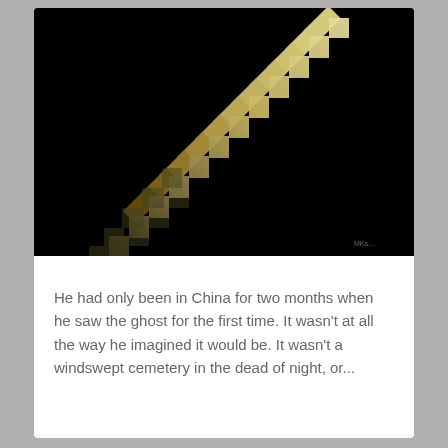[Figure (illustration): Dark black background with a diagonal staircase illustration rendered in cream/gold tones, stepping from upper right to lower left, with the lower portion fading into shadow. A small artist signature is visible in the lower right corner.]
He had only been in China for two months when he saw the ghost for the first time. It wasn't at all the way he imagined it would be. It wasn't a windswept cemetery in the dead of night, or...